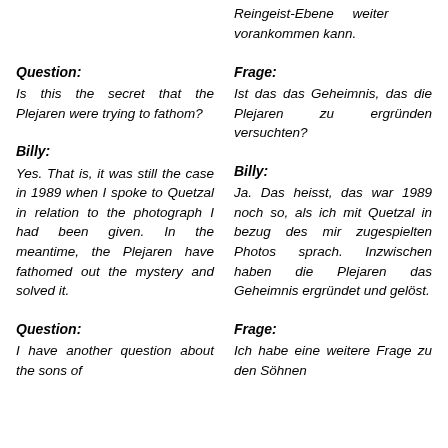Reingeist-Ebene weiter vorankommen kann.
Question:
Is this the secret that the Plejaren were trying to fathom?
Frage:
Ist das das Geheimnis, das die Plejaren zu ergründen versuchten?
Billy:
Yes. That is, it was still the case in 1989 when I spoke to Quetzal in relation to the photograph I had been given. In the meantime, the Plejaren have fathomed out the mystery and solved it.
Billy:
Ja. Das heisst, das war 1989 noch so, als ich mit Quetzal in bezug des mir zugespielten Photos sprach. Inzwischen haben die Plejaren das Geheimnis ergründet und gelöst.
Question:
I have another question about the sons of
Frage:
Ich habe eine weitere Frage zu den Söhnen